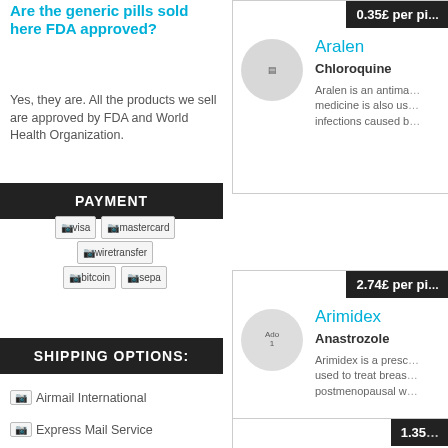Are the generic pills sold here FDA approved?
Yes, they are. All the products we sell are approved by FDA and World Health Organization.
PAYMENT
[Figure (other): Payment method icons: visa, mastercard, wiretransfer, bitcoin, sepa]
SHIPPING OPTIONS:
Airmail International
Express Mail Service
[Figure (other): Product card: Aralen (Chloroquine), 0.35£ per pill. Aralen is an antimalarial medicine is also used... infections caused b...]
[Figure (other): Product card: Arimidex (Anastrozole), 2.74£ per pill. Arimidex is a prescription used to treat breast... postmenopausal we...]